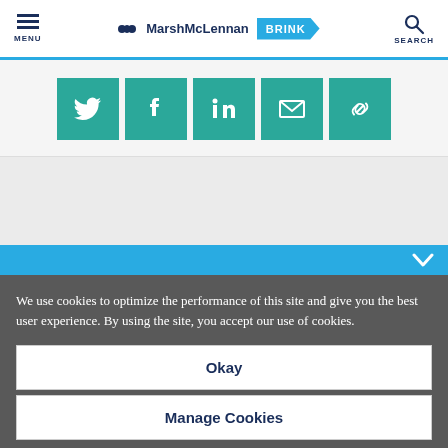MENU | MarshMcLennan BRINK | SEARCH
[Figure (screenshot): Social share icons row: Twitter, Facebook, LinkedIn, Email, Link — all teal/green square buttons with white icons]
We use cookies to optimize the performance of this site and give you the best user experience. By using the site, you accept our use of cookies.
Okay
Manage Cookies